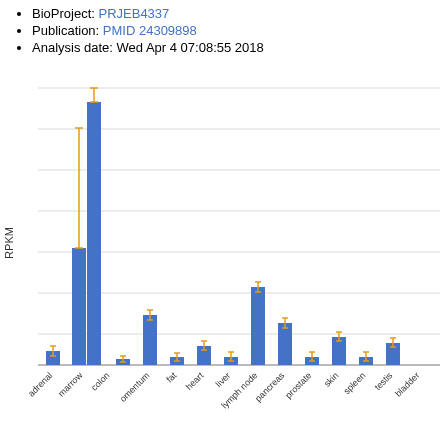BioProject: PRJEB4337
Publication: PMID 24309898
Analysis date: Wed Apr 4 07:08:55 2018
[Figure (bar-chart): RPKM expression by tissue]